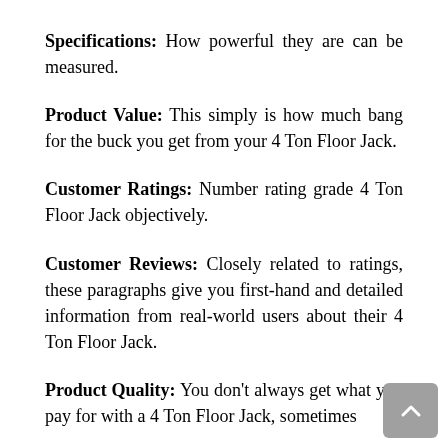Specifications: How powerful they are can be measured.
Product Value: This simply is how much bang for the buck you get from your 4 Ton Floor Jack.
Customer Ratings: Number rating grade 4 Ton Floor Jack objectively.
Customer Reviews: Closely related to ratings, these paragraphs give you first-hand and detailed information from real-world users about their 4 Ton Floor Jack.
Product Quality: You don't always get what you pay for with a 4 Ton Floor Jack, sometimes